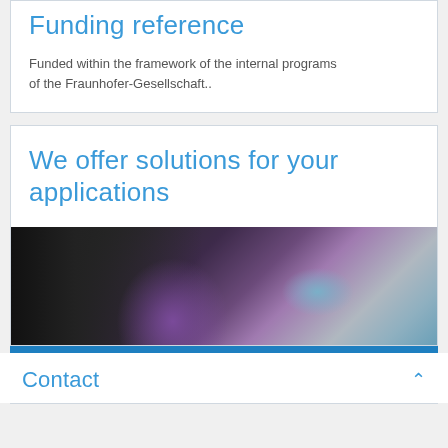Funding reference
Funded within the framework of the internal programs of the Fraunhofer-Gesellschaft..
We offer solutions for your applications
[Figure (photo): Close-up photo of a purple/violet spherical object next to dark mechanical equipment, with blurred teal/grey background]
Contact